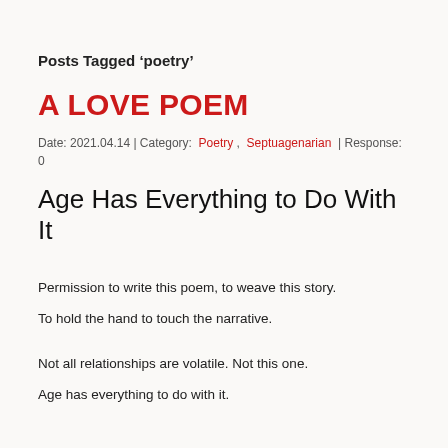Posts Tagged ‘poetry’
A LOVE POEM
Date: 2021.04.14 | Category:  Poetry ,  Septuagenarian  | Response: 0
Age Has Everything to Do With It
Permission to write this poem, to weave this story.
To hold the hand to touch the narrative.
Not all relationships are volatile. Not this one.
Age has everything to do with it.